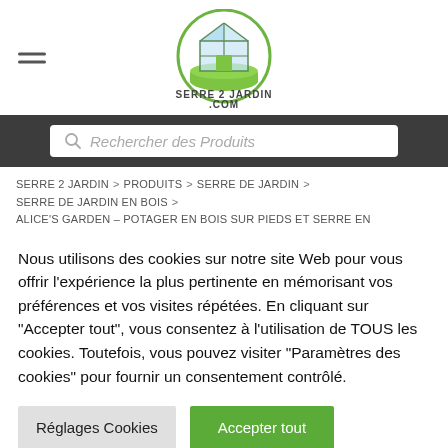[Figure (logo): Serre 2 Jardin .com logo inside a green circle, showing a greenhouse illustration on a green base platform, with text SERRE 2 JARDIN .COM below]
Rechercher des Produits
SERRE 2 JARDIN > PRODUITS > SERRE DE JARDIN > SERRE DE JARDIN EN BOIS > ALICE'S GARDEN – POTAGER EN BOIS SUR PIEDS ET SERRE EN
Nous utilisons des cookies sur notre site Web pour vous offrir l'expérience la plus pertinente en mémorisant vos préférences et vos visites répétées. En cliquant sur "Accepter tout", vous consentez à l'utilisation de TOUS les cookies. Toutefois, vous pouvez visiter "Paramètres des cookies" pour fournir un consentement contrôlé.
Réglages Cookies
Accepter tout